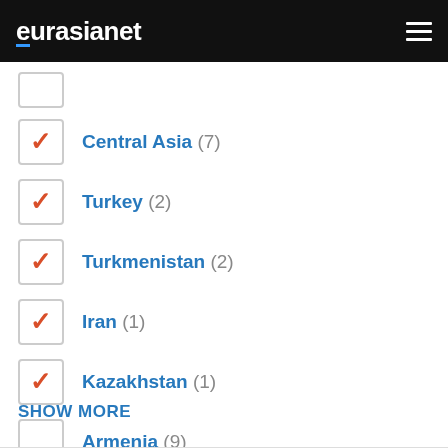eurasianet
(partial checkbox row at top)
Central Asia (7) — checked
Turkey (2) — checked
Turkmenistan (2) — checked
Iran (1) — checked
Kazakhstan (1) — checked
Armenia (9) — unchecked
Caucasus (9) — unchecked
Nagorno Karabakh (7) — unchecked
Russia (3) — unchecked
SHOW MORE